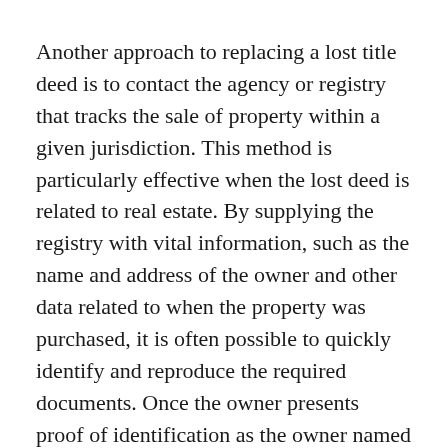Another approach to replacing a lost title deed is to contact the agency or registry that tracks the sale of property within a given jurisdiction. This method is particularly effective when the lost deed is related to real estate. By supplying the registry with vital information, such as the name and address of the owner and other data related to when the property was purchased, it is often possible to quickly identify and reproduce the required documents. Once the owner presents proof of identification as the owner named in the sale documents, the registry will provide a copy of the lost title deed, typically for some type of fee.